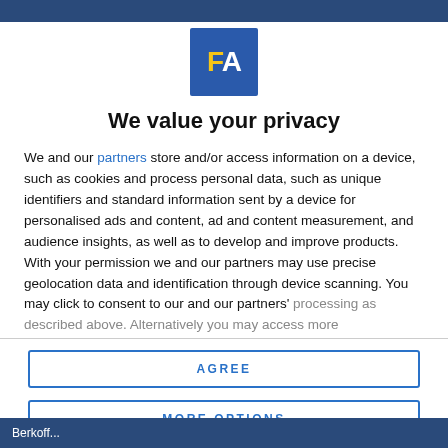[Figure (logo): FA logo — blue square with yellow F and white A letters]
We value your privacy
We and our partners store and/or access information on a device, such as cookies and process personal data, such as unique identifiers and standard information sent by a device for personalised ads and content, ad and content measurement, and audience insights, as well as to develop and improve products. With your permission we and our partners may use precise geolocation data and identification through device scanning. You may click to consent to our and our partners' processing as described above. Alternatively you may access more
AGREE
MORE OPTIONS
Berkoff...